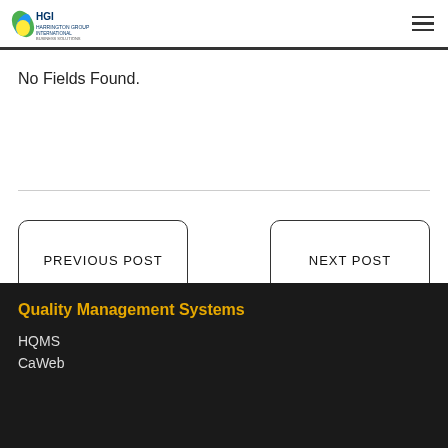HGI Harrington Group International Business Solutions — Contact Us Today
No Fields Found.
PREVIOUS POST
NEXT POST
Quality Management Systems
HQMS
CaWeb